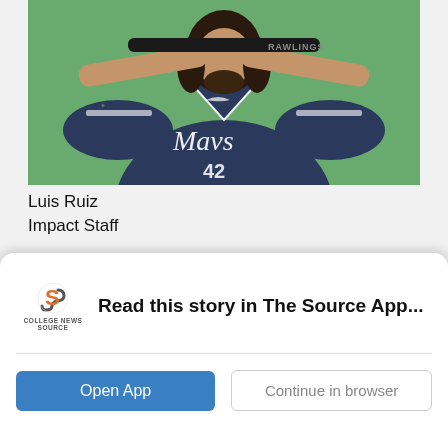[Figure (photo): Baseball player in navy Mavs jersey #42 holding a Rawlings bat behind his shoulders, green background]
Luis Ruiz
Impact Staff
[Figure (photo): Partial second photo, mostly grey/blue gradient strip]
Read this story in The Source App...
Open App
Continue in browser